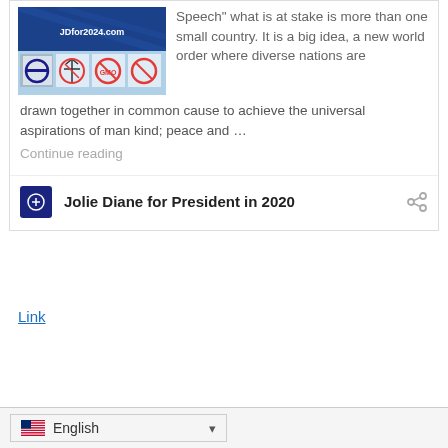[Figure (screenshot): Blog post card showing a website preview image with JDfor2024.com logo and icons, followed by article text about 'what is at stake is more than one small country...' with a Continue reading link and footer showing 'Jolie Diane for President in 2020' with a share icon]
Speech” what is at stake is more than one small country. It is a big idea, a new world order where diverse nations are drawn together in common cause to achieve the universal aspirations of man kind; peace and …
Continue reading
Jolie Diane for President in 2020
Link
English